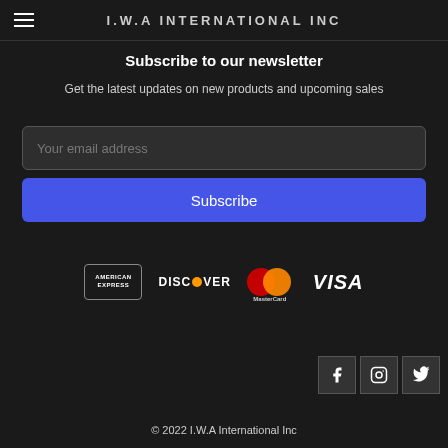I.W.A INTERNATIONAL INC
Subscribe to our newsletter
Get the latest updates on new products and upcoming sales
Your email address
Subscribe
[Figure (logo): Payment method logos: American Express, Discover, MasterCard, Visa]
[Figure (logo): Social media icons: Facebook, Instagram, Twitter]
© 2022 I.W.A International Inc